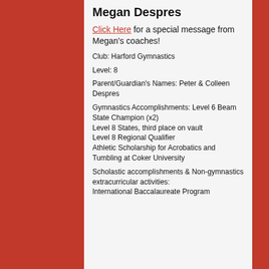Megan Despres
Click Here for a special message from Megan's coaches!
Club: Harford Gymnastics
Level: 8
Parent/Guardian's Names: Peter & Colleen Despres
Gymnastics Accomplishments: Level 6 Beam State Champion (x2)
Level 8 States, third place on vault
Level 8 Regional Qualifier
Athletic Scholarship for Acrobatics and Tumbling at Coker University
Scholastic accomplishments & Non-gymnastics extracurricular activities:
International Baccalaureate Program